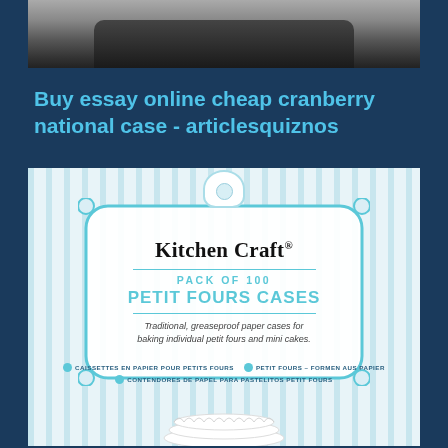[Figure (photo): Top portion of a product/device photo with dark object against light background, partially cropped]
Buy essay online cheap cranberry national case - articlesquiznos
[Figure (photo): KitchenCraft product packaging for Pack of 100 Petit Fours Cases. Light blue striped background with decorative badge showing brand name KitchenCraft, PACK OF 100 PETIT FOURS CASES, description: Traditional, greaseproof paper cases for baking individual petit fours and mini cakes. Multilingual text at bottom in French, German, and Spanish. Petit fours cases shown at bottom.]